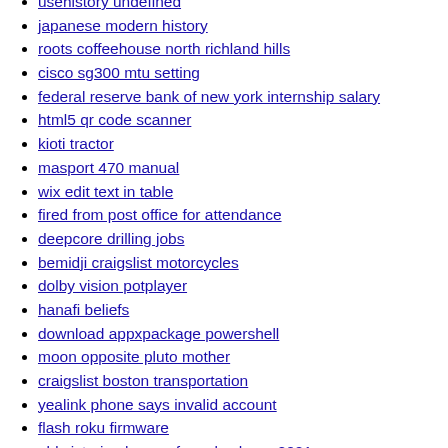usehistory undefined
japanese modern history
roots coffeehouse north richland hills
cisco sg300 mtu setting
federal reserve bank of new york internship salary
html5 qr code scanner
kioti tractor
masport 470 manual
wix edit text in table
fired from post office for attendance
deepcore drilling jobs
bemidji craigslist motorcycles
dolby vision potplayer
hanafi beliefs
download appxpackage powershell
moon opposite pluto mother
craigslist boston transportation
yealink phone says invalid account
flash roku firmware
old victorian homes for sale cheap 2021
sendgrid unsubscribe link not working
green cleaning products company
hackthebox book
checkpoint enable back connections
55 townhomes for sale